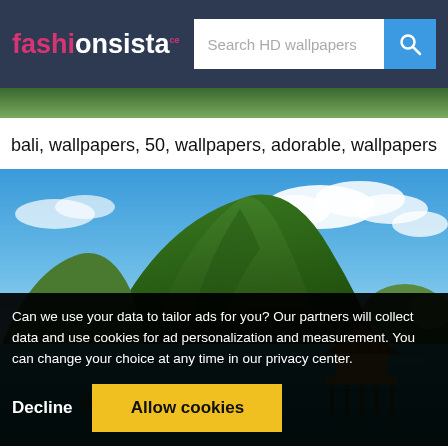fashionsista — Search HD wallpapers
bali, wallpapers, 50, wallpapers, adorable, wallpapers
[Figure (photo): Tropical island scene with a green volcanic hill, turquoise sea, floating hut/stilt structure, and blue sky with clouds — Bali HD wallpaper]
Can we use your data to tailor ads for you? Our partners will collect data and use cookies for ad personalization and measurement. You can change your choice at any time in our privacy center.
Decline   Allow cookies